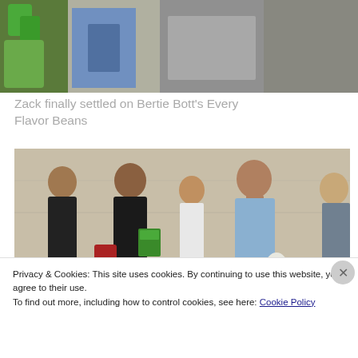[Figure (photo): Top portion of a cropped photo showing colorful items and a person's midsection]
Zack finally settled on Bertie Bott's Every Flavor Beans
[Figure (photo): Group of children/teens standing and talking in a large indoor space with concrete walls; one girl in a blue shirt appears to be eating something]
Privacy & Cookies: This site uses cookies. By continuing to use this website, you agree to their use.
To find out more, including how to control cookies, see here: Cookie Policy
Close and accept